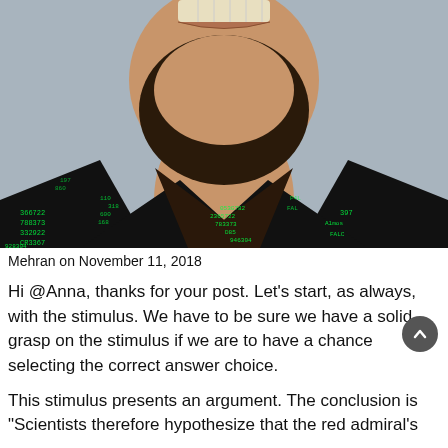[Figure (photo): Photo of a bearded man smiling, wearing a black and green patterned shirt with numbers printed on it, photographed against a gray background.]
Mehran on November 11, 2018
Hi @Anna, thanks for your post. Let’s start, as always, with the stimulus. We have to be sure we have a solid grasp on the stimulus if we are to have a chance at selecting the correct answer choice.
This stimulus presents an argument. The conclusion is “Scientists therefore hypothesize that the red admiral’s